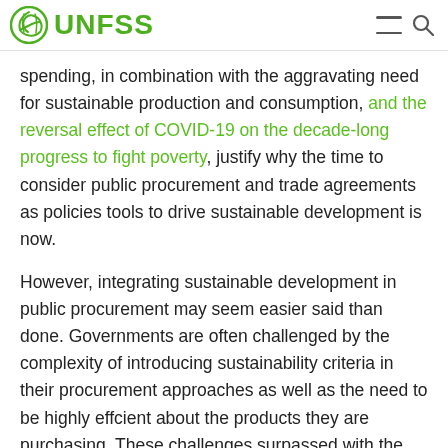UNFSS
spending, in combination with the aggravating need for sustainable production and consumption, and the reversal effect of COVID-19 on the decade-long progress to fight poverty, justify why the time to consider public procurement and trade agreements as policies tools to drive sustainable development is now.
However, integrating sustainable development in public procurement may seem easier said than done. Governments are often challenged by the complexity of introducing sustainability criteria in their procurement approaches as well as the need to be highly effcient about the products they are purchasing. These challenges surpassed with the perceived higher costs and the lack of available sustainable options at certain